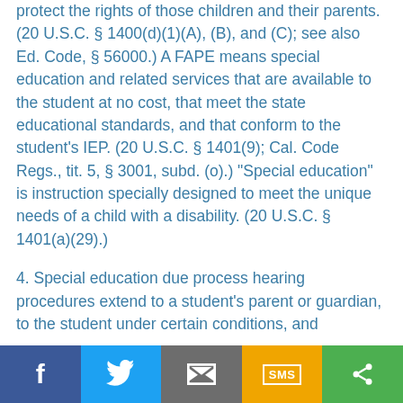protect the rights of those children and their parents. (20 U.S.C. § 1400(d)(1)(A), (B), and (C); see also Ed. Code, § 56000.) A FAPE means special education and related services that are available to the student at no cost, that meet the state educational standards, and that conform to the student's IEP. (20 U.S.C. § 1401(9); Cal. Code Regs., tit. 5, § 3001, subd. (o).) "Special education" is instruction specially designed to meet the unique needs of a child with a disability. (20 U.S.C. § 1401(a)(29).)
4. Special education due process hearing procedures extend to a student's parent or guardian, to the student under certain conditions, and
Facebook | Twitter | Email | SMS | Share